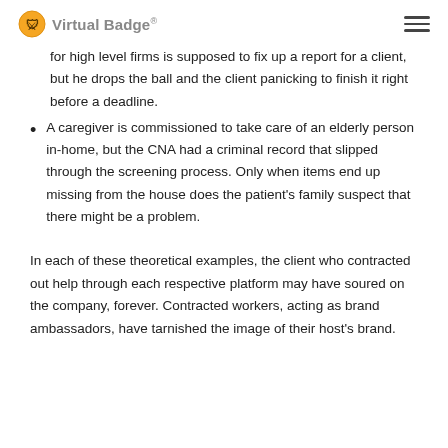Virtual Badge®
for high level firms is supposed to fix up a report for a client, but he drops the ball and the client panicking to finish it right before a deadline.
A caregiver is commissioned to take care of an elderly person in-home, but the CNA had a criminal record that slipped through the screening process. Only when items end up missing from the house does the patient's family suspect that there might be a problem.
In each of these theoretical examples, the client who contracted out help through each respective platform may have soured on the company, forever. Contracted workers, acting as brand ambassadors, have tarnished the image of their host's brand.